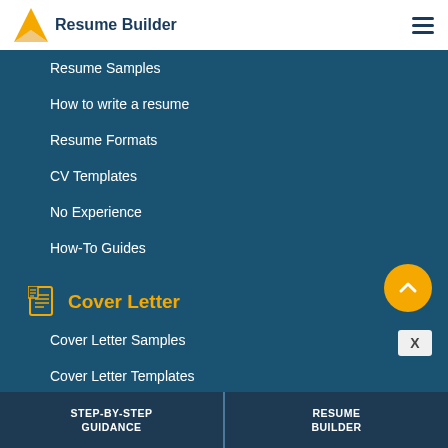Resume Builder
Resume Samples
How to write a resume
Resume Formats
CV Templates
No Experience
How-To Guides
Cover Letter
Cover Letter Samples
Cover Letter Templates
STEP-BY-STEP GUIDANCE
RESUME BUILDER